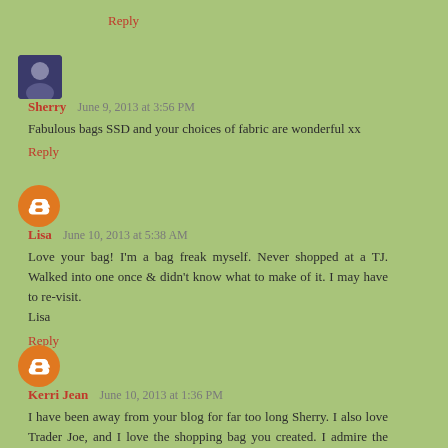Reply
Sherry  June 9, 2013 at 3:56 PM
Fabulous bags SSD and your choices of fabric are wonderful xx
Reply
Lisa  June 10, 2013 at 5:38 AM
Love your bag! I'm a bag freak myself. Never shopped at a TJ. Walked into one once & didn't know what to make of it. I may have to re-visit.
Lisa
Reply
Kerri Jean  June 10, 2013 at 1:36 PM
I have been away from your blog for far too long Sherry. I also love Trader Joe, and I love the shopping bag you created. I admire the wide range of talents you have!!!